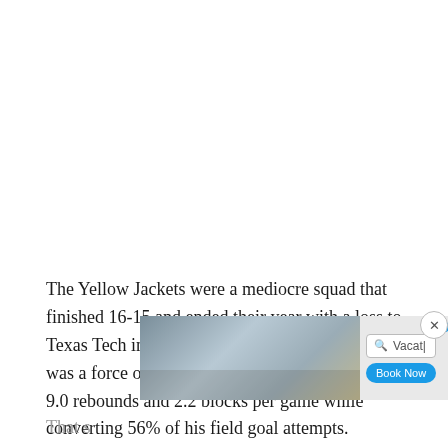The Yellow Jackets were a mediocre squad that finished 16-15 and ended their year with a loss to Texas Tech in the N.I.T. quarterfinals, but Bosh was a force of nature in averaging 15.6 points, 9.0 rebounds and 2.2 blocks per game while converting 56% of his field goal attempts.
[Figure (screenshot): Advertisement banner with a search bar reading 'Vacat|' and a 'Book Now' blue button, along with background photo of people in an interior setting. Close controls visible on the right.]
That s...